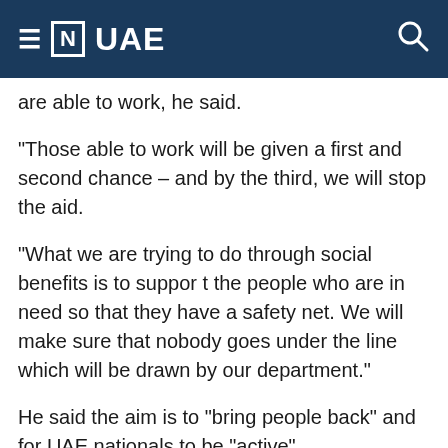≡ [N] UAE
are able to work,  he said.
"Those able to work will be given a first and second chance – and by the third, we will stop the aid.
"What we are trying to do through social benefits is to support the people who are in need so that they have a safety net. We will make sure that nobody goes under the line which will be drawn by our department."
He said the aim is to "bring people back" and for UAE nationals to be "active".
"We need to prepare our society for the post-oil era and give incentives to people to work